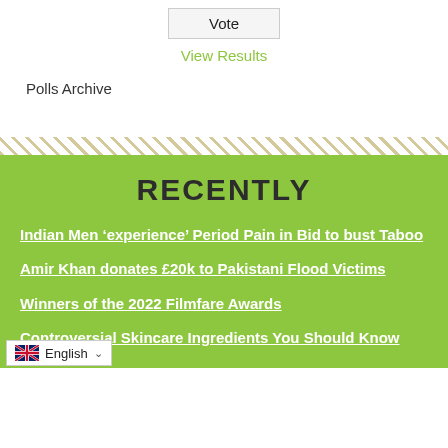Vote
View Results
Polls Archive
RECENTLY
Indian Men ‘experience’ Period Pain in Bid to bust Taboo
Amir Khan donates £20k to Pakistani Flood Victims
Winners of the 2022 Filmfare Awards
Controversial Skincare Ingredients You Should Know About
English